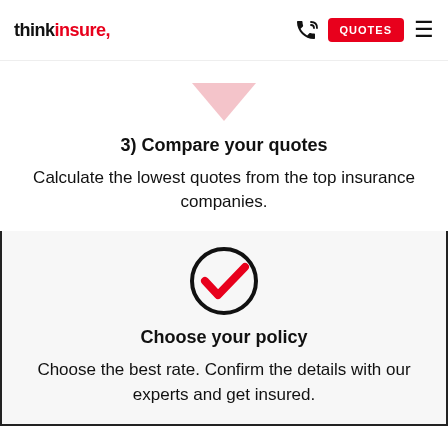thinkinsure. QUOTES
[Figure (illustration): Pink/light red downward pointing arrow icon]
3) Compare your quotes
Calculate the lowest quotes from the top insurance companies.
[Figure (illustration): Black circle with red checkmark icon]
Choose your policy
Choose the best rate. Confirm the details with our experts and get insured.